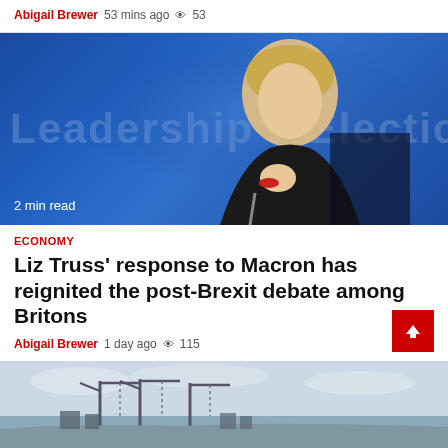Abigail Brewer  53 mins ago  👁 53
[Figure (photo): Liz Truss speaking at a Conservative Party Leadership Election event, wearing a black jacket, gesturing with her fist, blue backdrop with 'Leadership Election' text]
2 min read
ECONOMY
Liz Truss' response to Macron has reignited the post-Brexit debate among Britons
Abigail Brewer  1 day ago  👁 115
[Figure (photo): Aerial view of a port with cranes, overcast sky]